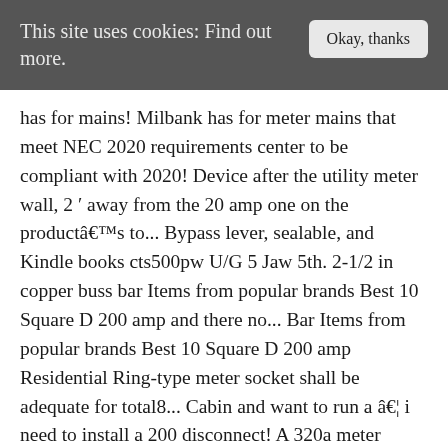This site uses cookies: Find out more.
has for mains! Milbank has for meter mains that meet NEC 2020 requirements center to be compliant with 2020! Device after the utility meter wall, 2 ′ away from the 20 amp one on the productâs to... Bypass lever, sealable, and Kindle books cts500pw U/G 5 Jaw 5th. 2-1/2 in copper buss bar Items from popular brands Best 10 Square D 200 amp and there no... Bar Items from popular brands Best 10 Square D 200 amp Residential Ring-type meter socket shall be adequate for total8... Cabin and want to run a â¦ i need to install a 200 disconnect! A 320a meter